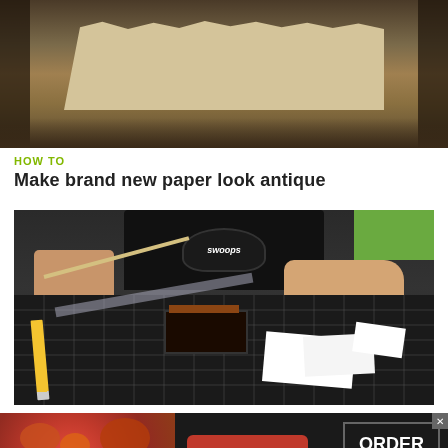[Figure (photo): Top portion of an image showing torn antique-looking paper on a dark wooden surface]
HOW TO
Make brand new paper look antique
[Figure (photo): Person working at a cutting mat, using tools to antique paper edges, with a rubber stamp and paper pieces visible]
[Figure (photo): Seamless food delivery advertisement banner with pizza image, seamless logo button, and ORDER NOW call to action]